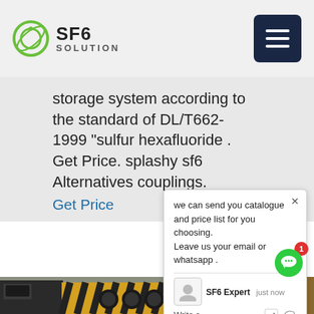SF6 SOLUTION
storage system according to the standard of DL/T662-1999 "sulfur hexafluoride . Get Price. splashy sf6 Alternatives couplings.
Get Price
we can send you catalogue and price list for you choosing. Leave us your email or whatsapp .
SF6 Expert   just now
Write a
[Figure (photo): SF6 gas handling machine/equipment in an industrial warehouse setting. Large yellow-black striped industrial unit with fans and control panels, alongside red cylindrical storage tanks and other equipment.]